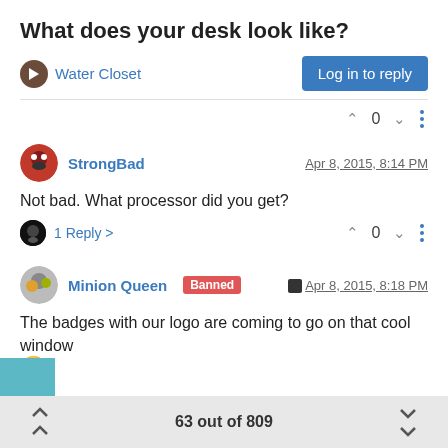What does your desk look like?
Water Closet
Log in to reply
0
StrongBad  Apr 8, 2015, 8:14 PM
Not bad. What processor did you get?
1 Reply  0
Minion Queen  Banned  Apr 8, 2015, 8:18 PM
The badges with our logo are coming to go on that cool window
63 out of 809